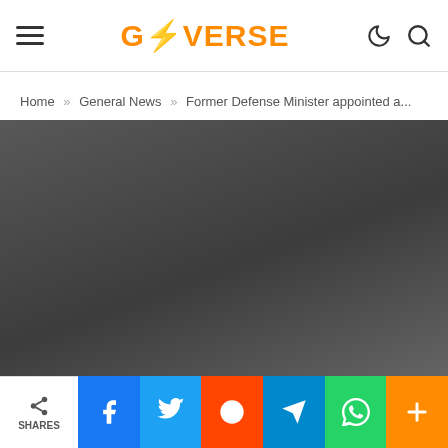GHVERSE
Home » General News » Former Defense Minister appointed a...
[Figure (photo): Dark gray article hero image placeholder]
SHARES | Facebook | Twitter | Reddit | Telegram | WhatsApp | More